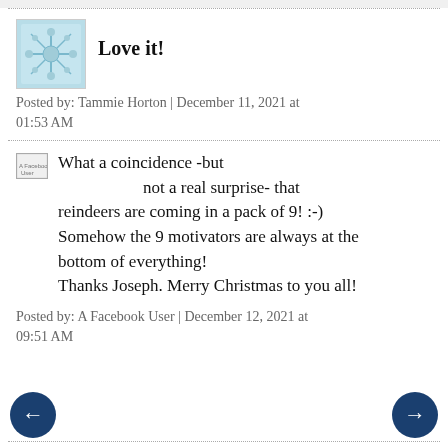Love it!
Posted by: Tammie Horton | December 11, 2021 at 01:53 AM
What a coincidence -but not a real surprise- that reindeers are coming in a pack of 9! :-) Somehow the 9 motivators are always at the bottom of everything! Thanks Joseph. Merry Christmas to you all!
Posted by: A Facebook User | December 12, 2021 at 09:51 AM